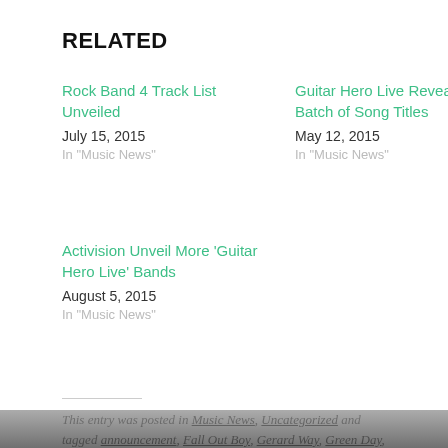RELATED
Rock Band 4 Track List Unveiled
July 15, 2015
In "Music News"
Guitar Hero Live Reveal First Batch of Song Titles
May 12, 2015
In "Music News"
Activision Unveil More 'Guitar Hero Live' Bands
August 5, 2015
In "Music News"
This entry was posted in Music News, Uncategorized and tagged announcement, Fall Out Boy, Gerard Way, Green Day, Guitar Hero, Guitar Hero Live, music, music news, My Chemical Romance, Pete Wentz, video game. Bookmark the permalink.